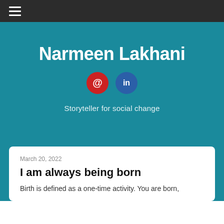≡
Narmeen Lakhani
[Figure (other): Social media icons: email (red circle with @) and LinkedIn (blue circle with 'in')]
Storyteller for social change
March 20, 2022
I am always being born
Birth is defined as a one-time activity. You are born,